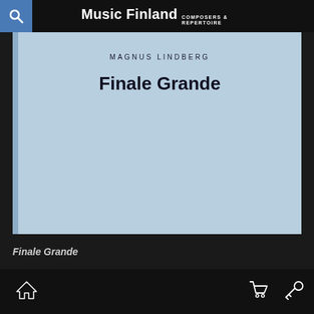Music Finland COMPOSERS & REPERTOIRE
[Figure (illustration): Light blue book cover for 'Finale Grande' by Magnus Lindberg, with a darker blue spine on the left side. The cover shows the author name 'MAGNUS LINDBERG' in small caps and the title 'Finale Grande' in large bold text.]
Finale Grande